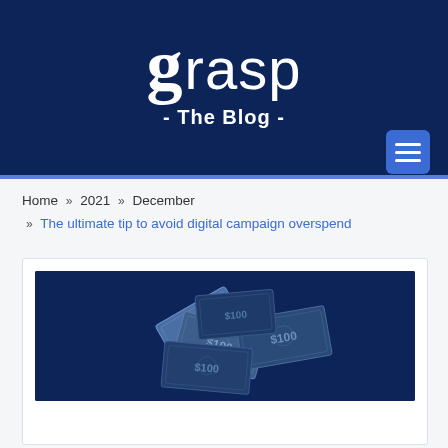[Figure (logo): Grasp blog logo on dark navy background with large stylized 'g' and text 'grasp' followed by '- The Blog -' tagline]
Home » 2021 » December » The ultimate tip to avoid digital campaign overspend
[Figure (photo): Photo of scattered dollar bills and money on a dark navy background, representing digital campaign overspend]